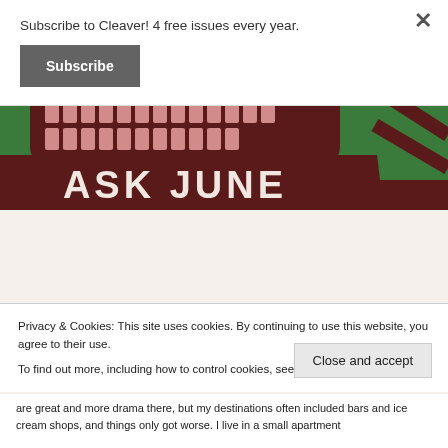Subscribe to Cleaver! 4 free issues every year.
Subscribe
[Figure (illustration): ASK JUNE banner illustration with a brown basket filled with colorful rectangular tiles on a green background with striped shapes on the right side. Text reads ASK JUNE in large white letters on a brown band at the bottom.]
Privacy & Cookies: This site uses cookies. By continuing to use this website, you agree to their use.
To find out more, including how to control cookies, see here: Cookie Policy
Close and accept
are great and more drama there, but my destinations often included bars and ice cream shops, and things only got worse. I live in a small apartment